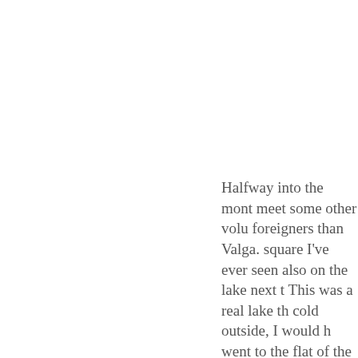Halfway into the mont meet some other volu foreigners than Valga. square I've ever seen also on the lake next t This was a real lake th cold outside, I would h went to the flat of the staircase to reach this